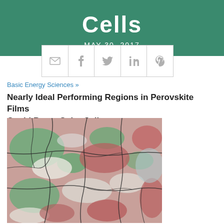Cells
MAY 30, 2017
[Figure (infographic): Social sharing icons: email, facebook, twitter, linkedin, pinterest in a horizontal bar]
Basic Energy Sciences »
Nearly Ideal Performing Regions in Perovskite Films Could Boost Solar Cells
[Figure (photo): Microscopic false-color image of perovskite film regions showing green, red, and white areas with dark grain boundaries]